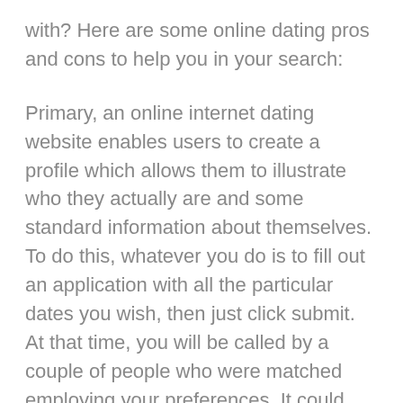with? Here are some online dating pros and cons to help you in your search:
Primary, an online internet dating website enables users to create a profile which allows them to illustrate who they actually are and some standard information about themselves. To do this, whatever you do is to fill out an application with all the particular dates you wish, then just click submit. At that time, you will be called by a couple of people who were matched employing your preferences. It could basically just a quick way to meet up with someone off-line.